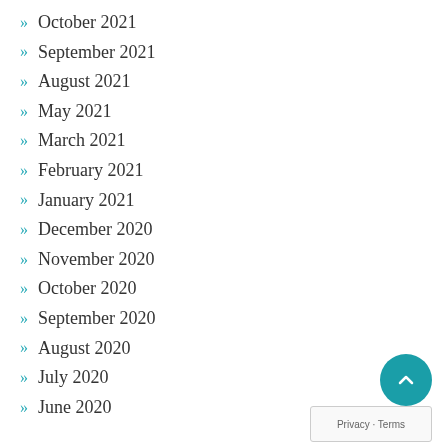October 2021
September 2021
August 2021
May 2021
March 2021
February 2021
January 2021
December 2020
November 2020
October 2020
September 2020
August 2020
July 2020
June 2020